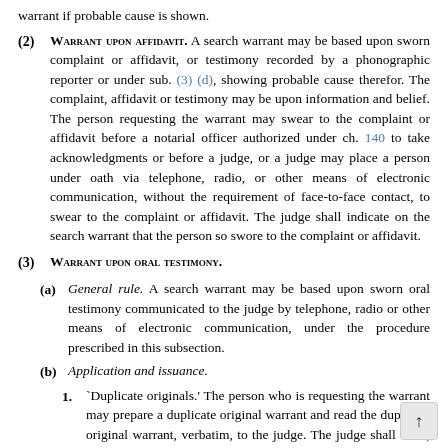warrant if probable cause is shown.
(2) WARRANT UPON AFFIDAVIT. A search warrant may be based upon sworn complaint or affidavit, or testimony recorded by a phonographic reporter or under sub. (3)(d), showing probable cause therefor. The complaint, affidavit or testimony may be upon information and belief. The person requesting the warrant may swear to the complaint or affidavit before a notarial officer authorized under ch. 140 to take acknowledgments or before a judge, or a judge may place a person under oath via telephone, radio, or other means of electronic communication, without the requirement of face-to-face contact, to swear to the complaint or affidavit. The judge shall indicate on the search warrant that the person so swore to the complaint or affidavit.
(3) WARRANT UPON ORAL TESTIMONY.
(a) General rule. A search warrant may be based upon sworn oral testimony communicated to the judge by telephone, radio or other means of electronic communication, under the procedure prescribed in this subsection.
(b) Application and issuance.
1. `Duplicate originals.' The person who is requesting the warrant may prepare a duplicate original warrant and read the duplicate original warrant, verbatim, to the judge. The judge shall enter, verbatim, what is read on the original warrant. The judge may direct that the